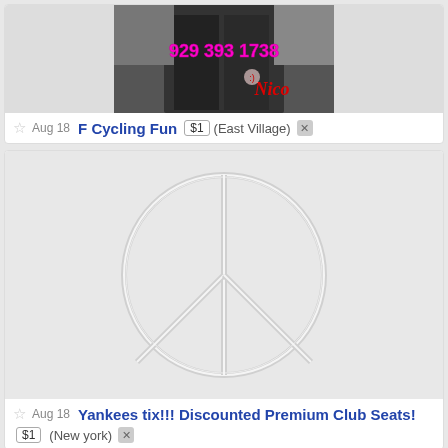[Figure (photo): Cropped photo with overlaid text '929 393 1738' in magenta and 'Nico' in red cursive]
★ Aug 18  F Cycling Fun  $1  (East Village) [x]
[Figure (illustration): Light gray image with embossed peace sign logo on light gray background]
★ Aug 18  Yankees tix!!! Discounted Premium Club Seats!  $1  (New york) [x]